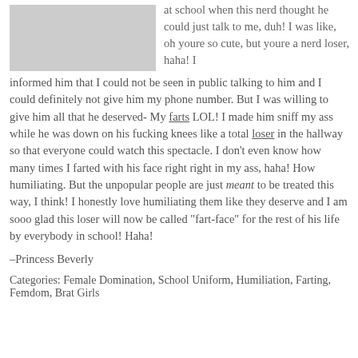[Figure (photo): Photo of two people in a school or indoor setting]
at school when this nerd thought he could just talk to me, duh! I was like, oh youre so cute, but youre a nerd loser, haha! I informed him that I could not be seen in public talking to him and I could definitely not give him my phone number. But I was willing to give him all that he deserved- My farts LOL! I made him sniff my ass while he was down on his fucking knees like a total loser in the hallway so that everyone could watch this spectacle. I don't even know how many times I farted with his face right right in my ass, haha! How humiliating. But the unpopular people are just meant to be treated this way, I think! I honestly love humiliating them like they deserve and I am sooo glad this loser will now be called "fart-face" for the rest of his life by everybody in school! Haha!
–Princess Beverly
Categories: Female Domination, School Uniform, Humiliation, Farting, Femdom, Brat Girls